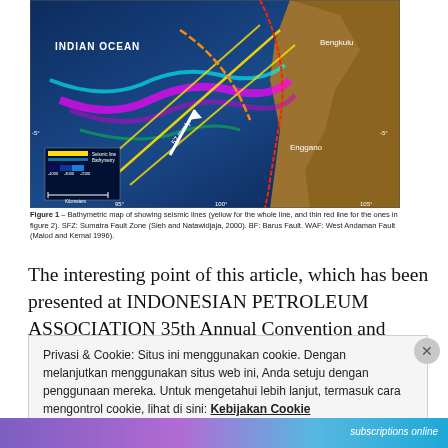[Figure (map): Bathymetric map showing seismic lines over the Indian Ocean / Sumatra region, with colored fault lines, yellow lines for seismic survey, white arrow, and labels including INDIAN OCEAN, Bengkulu, Enggano.]
Figure 1 – Bathymetric map of showing seismic lines (yellow for the whole line, and thin red line for the ones in figure 2). SFZ: Sumatra Fault Zone (Sieh and Natawidjaja, 2000). BF: Barus Fault. WAF: West Andaman Fault (Malod and Kemal 1996).
The interesting point of this article, which has been presented at INDONESIAN PETROLEUM ASSOCIATION 35th Annual Convention and Exhibition May 2011 is that the deep seismic reflection data acquired by Western Geco and CGGVeritas have provide new information for understanding the evolution Sumatran forearc basins.
Privasi & Cookie: Situs ini menggunakan cookie. Dengan melanjutkan menggunakan situs web ini, Anda setuju dengan penggunaan mereka. Untuk mengetahui lebih lanjut, termasuk cara mengontrol cookie, lihat di sini: Kebijakan Cookie
Tutup dan terima